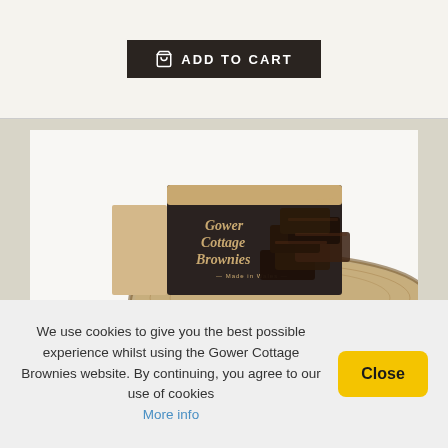[Figure (other): Add to Cart button with shopping bag icon on a dark background, shown at top of page]
[Figure (photo): Gower Cottage Brownies product photo: a box of 12 brownies (labeled 'Gower Cottage Brownies, Made in Wales') next to a rustic wooden board piled with chocolate brownies and chocolate chips (dark and white)]
We use cookies to give you the best possible experience whilst using the Gower Cottage Brownies website. By continuing, you agree to our use of cookies
More info
Close